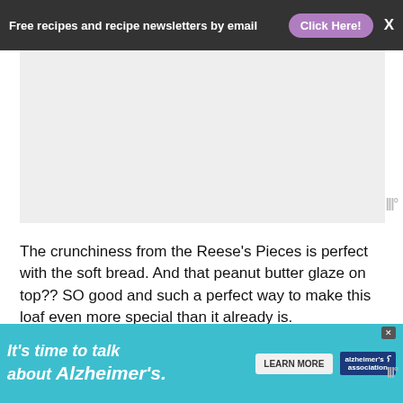Free recipes and recipe newsletters by email  Click Here!  X
[Figure (other): Advertisement placeholder area (light gray rectangle)]
The crunchiness from the Reese's Pieces is perfect with the soft bread. And that peanut butter glaze on top?? SO good and such a perfect way to make this loaf even more special than it already is.
We love it for a treat at breakfast, a snack in the lunchbox or even a dessert. So tasty anytime you eat it.
[Figure (other): Advertisement banner: It's time to talk about Alzheimer's. LEARN MORE. alzheimer's association logo.]